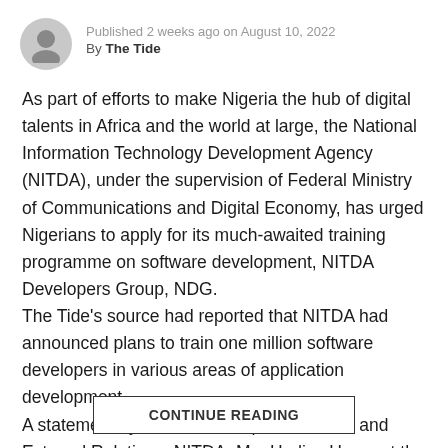Published 2 weeks ago on August 10, 2022
By The Tide
As part of efforts to make Nigeria the hub of digital talents in Africa and the world at large, the National Information Technology Development Agency (NITDA), under the supervision of Federal Ministry of Communications and Digital Economy, has urged Nigerians to apply for its much-awaited training programme on software development, NITDA Developers Group, NDG.
The Tide's source had reported that NITDA had announced plans to train one million software developers in various areas of application development.
A statement by the Head, Corporate Affairs and External Relations, NITDA, Mrs Hadiza Umar, at the weekend, said the project, which would be undertaken through NITDA's subsidiary, National Center for Artificial
CONTINUE READING